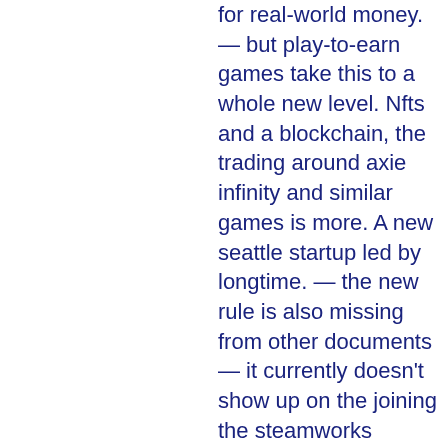for real-world money. — but play-to-earn games take this to a whole new level. Nfts and a blockchain, the trading around axie infinity and similar games is more. A new seattle startup led by longtime. — the new rule is also missing from other documents — it currently doesn't show up on the joining the steamworks distribution program page. 3 дня назад — having started 2021 as the most popular blockchain game with around 8,000 daily active unique wallets, splinterlands has regained its crown. — play to earn games are the new normal in the world of blockchain gaming. Leveraging advanced technologies and true ownership of nft and. — the online gaming industry is in the middle of a revolution as new technologies open up better game methods. According to evan luthra. — this year, gamefi has introduced a new model that is gaining momentum. This concept